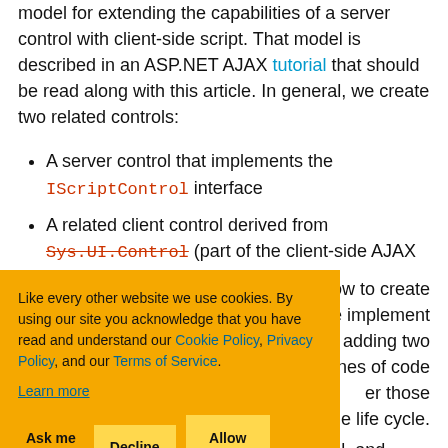model for extending the capabilities of a server control with client-side script. That model is described in an ASP.NET AJAX tutorial that should be read along with this article. In general, we create two related controls:
A server control that implements the IScriptControl interface
A related client control derived from Sys.UI.Control (part of the client-side AJAX
how to create we implement adding two lines of code er those age life cycle.
The specifics are described in the tutorial, and again
[Figure (screenshot): Cookie consent banner with orange background. Text: 'Like every other website we use cookies. By using our site you acknowledge that you have read and understand our Cookie Policy, Privacy Policy, and our Terms of Service. Learn more'. Buttons: 'Ask me later', 'Decline', 'Allow cookies'.]